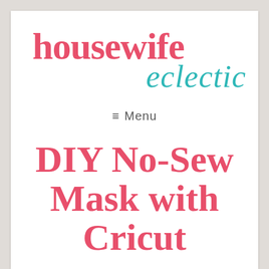[Figure (logo): Housewife Eclectic blog logo with 'housewife' in bold pink/red serif and 'eclectic' in teal italic script]
≡ Menu
DIY No-Sew Mask with Cricut